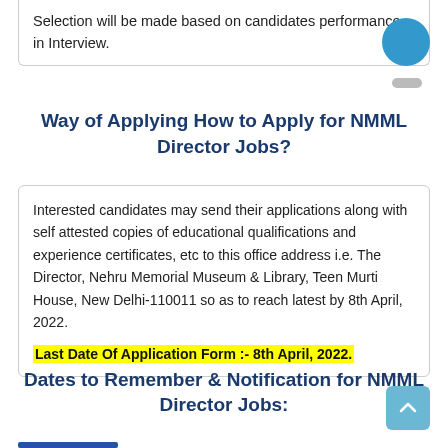Selection will be made based on candidates performance in Interview.
Way of Applying How to Apply for NMML Director Jobs?
Interested candidates may send their applications along with self attested copies of educational qualifications and experience certificates, etc to this office address i.e. The Director, Nehru Memorial Museum & Library, Teen Murti House, New Delhi-110011 so as to reach latest by 8th April, 2022.
Last Date Of Application Form :- 8th April, 2022.
Dates to Remember & Notification for NMML Director Jobs: